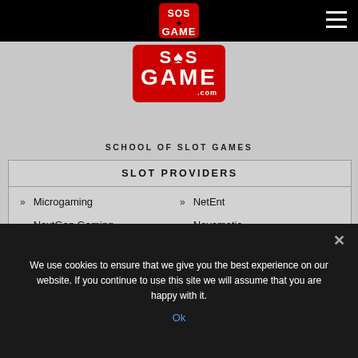[Figure (logo): SOS Game logo in navigation bar - small version on black background]
[Figure (logo): SOS Game large logo - red rectangle with SOS spade symbol and GAME text, .com suffix]
SCHOOL OF SLOT GAMES
| SLOT PROVIDERS |
| --- |
| Microgaming | NetEnt |
| NextGen Gaming | Novomatic |
| Play'n Go |  |
We use cookies to ensure that we give you the best experience on our website. If you continue to use this site we will assume that you are happy with it.
Ok